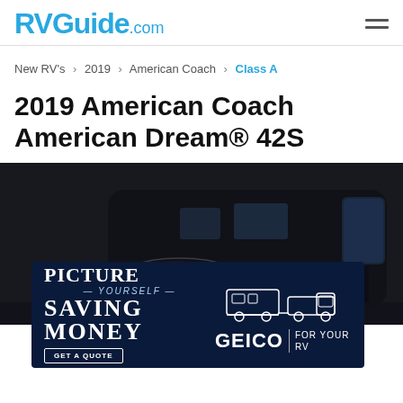RVGuide.com
New RV's > 2019 > American Coach > Class A
2019 American Coach American Dream® 42S
[Figure (photo): Front/side view of a large black luxury Class A motorhome (2019 American Coach American Dream 42S) partially visible, with a GEICO advertisement overlay reading 'PICTURE YOURSELF SAVING MONEY - GET A QUOTE - GEICO FOR YOUR RV' with a truck and RV trailer icon.]